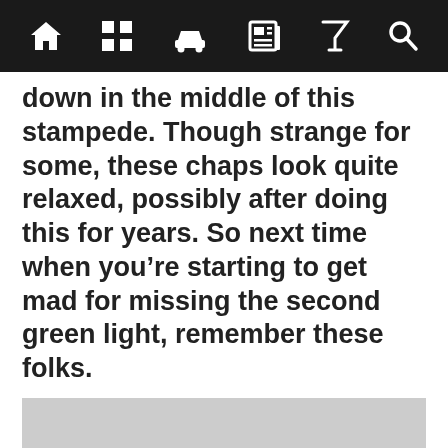[Figure (screenshot): Website navigation bar with icons: home, grid/menu, car, newspaper, cocktail/filter, and search]
down in the middle of this stampede. Though strange for some, these chaps look quite relaxed, possibly after doing this for years. So next time when you’re starting to get mad for missing the second green light, remember these folks.
We use cookies to improve your experience. By using the site you agree to the use of cookies. For more information and options regarding cookies and personal data see our Cookies Policy and Privacy Policy
Accept cookies & close
California residents: Do Not Sell My Info